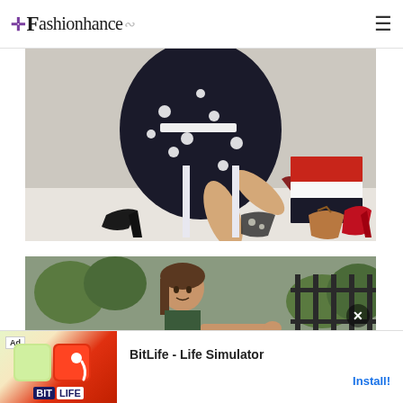Fashionhance
[Figure (photo): Woman in black and white polka dot dress sitting on a white chair surrounded by various high-heel shoes including black, patterned, tan/orange, and red pairs, with red and black shoe boxes stacked nearby against a white brick wall background.]
[Figure (photo): Woman with brown hair standing near a dark iron fence on a tree-lined path, looking at the camera.]
Ad  BitLife - Life Simulator  Install!